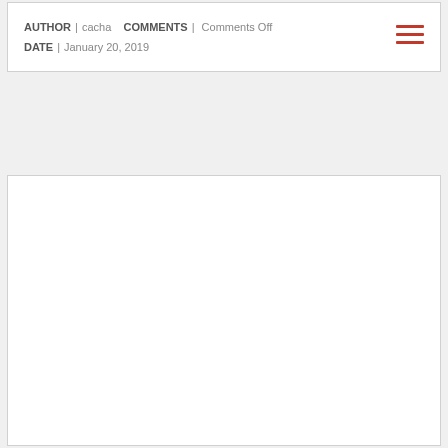AUTHOR | cacha   COMMENTS | Comments Off
DATE | January 20, 2019
[Figure (other): Empty white content card/panel below the metadata section]